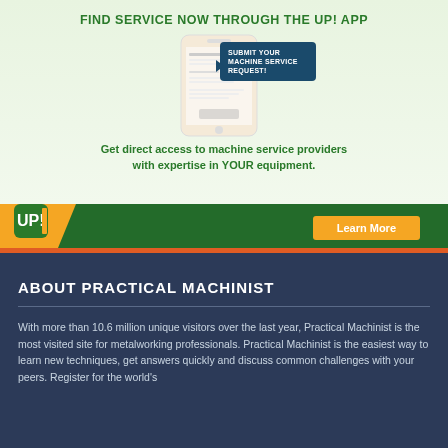[Figure (infographic): UP! App advertisement showing a smartphone with 'Service Request System' screen and a tooltip reading 'SUBMIT YOUR MACHINE SERVICE REQUEST!']
FIND SERVICE NOW THROUGH THE UP! APP
Get direct access to machine service providers with expertise in YOUR equipment.
Learn More
ABOUT PRACTICAL MACHINIST
With more than 10.6 million unique visitors over the last year, Practical Machinist is the most visited site for metalworking professionals. Practical Machinist is the easiest way to learn new techniques, get answers quickly and discuss common challenges with your peers. Register for the world's